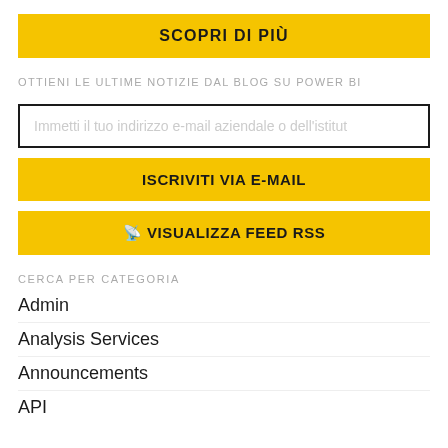SCOPRI DI PIÙ
OTTIENI LE ULTIME NOTIZIE DAL BLOG SU POWER BI
Immetti il tuo indirizzo e-mail aziendale o dell'istitut
ISCRIVITI VIA E-MAIL
VISUALIZZA FEED RSS
CERCA PER CATEGORIA
Admin
Analysis Services
Announcements
API